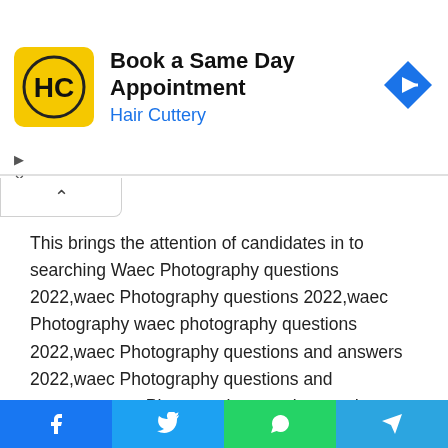[Figure (infographic): Hair Cuttery advertisement banner: Book a Same Day Appointment with HC logo and navigation arrow icon]
This brings the attention of candidates in to searching Waec Photography questions 2022,waec Photography questions 2022,waec Photography waec photography questions 2022,waec Photography questions and answers 2022,waec Photography questions and answers,waec Photography questions and answers 2022,waec Photography questions 2022,waec Photography questions and answers 2022 loading, waec photography past questions,waec past questions and answer,Waec Photography Question ,waec Photography questions 2022
[Figure (infographic): Social share buttons: Facebook, Twitter, WhatsApp, Telegram]